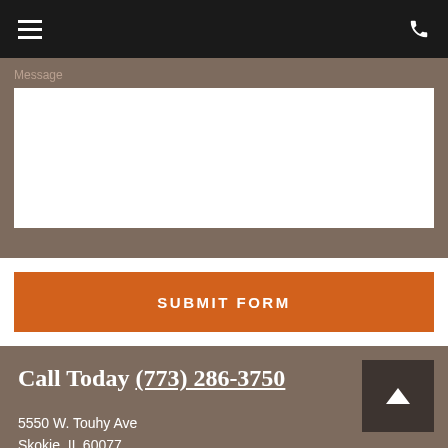Navigation header with hamburger menu and phone icon
Message (form field label, partially visible)
SUBMIT FORM
Call Today (773) 286-3750
5550 W. Touhy Ave
Skokie, IL 60077
ri S. Tiersky, DDS, 5550 W. Touhy Ave, Suite 402, Skokie, IL 60077 (773) 286-3750